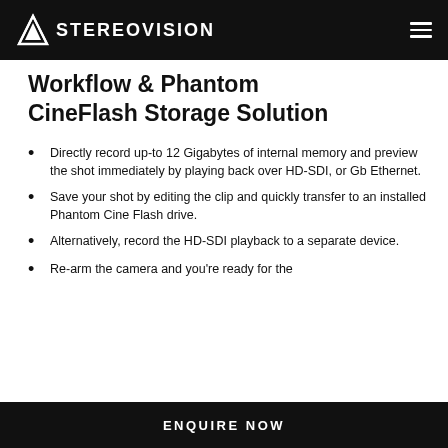STEREOVISION
Workflow & Phantom CineFlash Storage Solution
Directly record up-to 12 Gigabytes of internal memory and preview the shot immediately by playing back over HD-SDI, or Gb Ethernet.
Save your shot by editing the clip and quickly transfer to an installed Phantom Cine Flash drive.
Alternatively, record the HD-SDI playback to a separate device.
Re-arm the camera and you're ready for the
ENQUIRE NOW